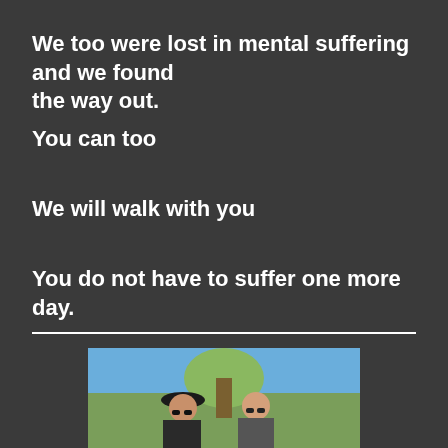We too were lost in mental suffering and we found the way out.
You can too
We will walk with you
You do not have to suffer one more day.
[Figure (photo): Two people outdoors wearing sunglasses and hats, with trees and blue sky in the background]